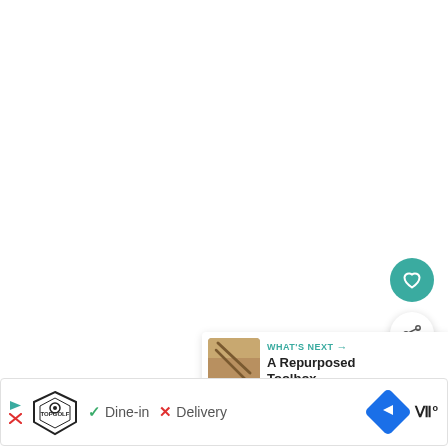[Figure (screenshot): White/blank area occupying the upper portion of the page (map or content area, mostly white)]
[Figure (other): Teal circular heart/favorite button on the right side]
[Figure (other): White circular share button with share icon on the right side]
[Figure (other): 'WHAT'S NEXT →' panel with thumbnail and text 'A Repurposed Toolbox...']
[Figure (screenshot): Bottom ad bar showing Topgolf logo with play/close buttons, checkmark Dine-in, X Delivery, blue navigation diamond icon, and wave/Waze-style icon]